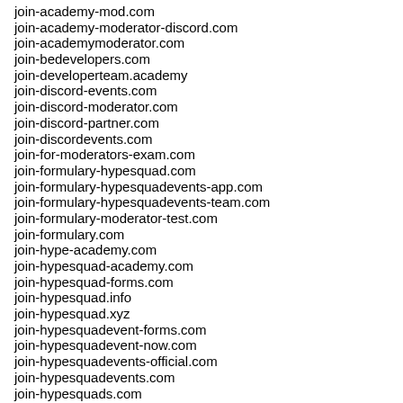join-academy-mod.com
join-academy-moderator-discord.com
join-academymoderator.com
join-bedevelopers.com
join-developerteam.academy
join-discord-events.com
join-discord-moderator.com
join-discord-partner.com
join-discordevents.com
join-for-moderators-exam.com
join-formulary-hypesquad.com
join-formulary-hypesquadevents-app.com
join-formulary-hypesquadevents-team.com
join-formulary-moderator-test.com
join-formulary.com
join-hype-academy.com
join-hypesquad-academy.com
join-hypesquad-forms.com
join-hypesquad.info
join-hypesquad.xyz
join-hypesquadevent-forms.com
join-hypesquadevent-now.com
join-hypesquadevents-official.com
join-hypesquadevents.com
join-hypesquads.com